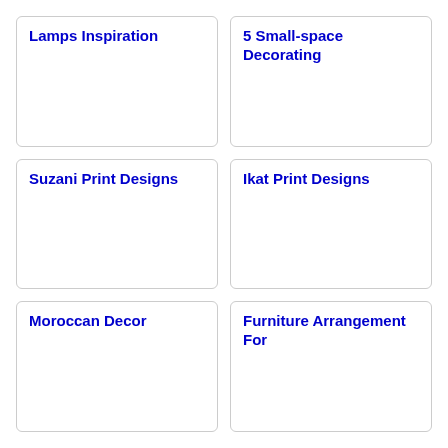Lamps Inspiration
5 Small-space Decorating
Suzani Print Designs
Ikat Print Designs
Moroccan Decor
Furniture Arrangement For